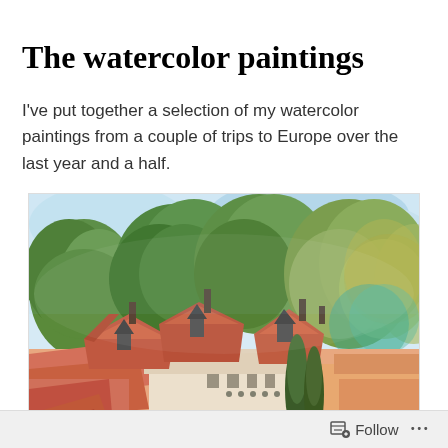The watercolor paintings
I've put together a selection of my watercolor paintings from a couple of trips to Europe over the last year and a half.
[Figure (illustration): Watercolor painting of European rooftops with terracotta/red-orange tiled roofs and chimneys in the foreground, surrounded by lush green trees in the background, painted in a loose watercolor style.]
Follow ...